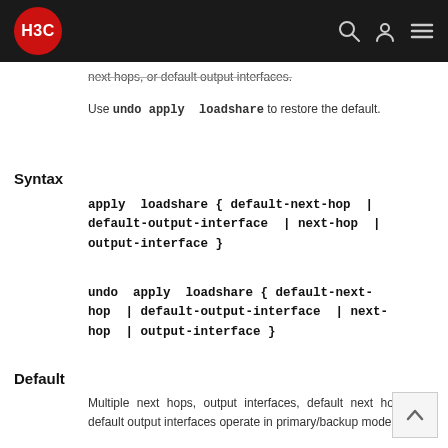H3C
next hops, or default output interfaces.
Use undo apply loadshare to restore the default.
Syntax
apply loadshare { default-next-hop | default-output-interface | next-hop | output-interface }
undo apply loadshare { default-next-hop | default-output-interface | next-hop | output-interface }
Default
Multiple next hops, output interfaces, default next hops, or default output interfaces operate in primary/backup mode.
Views